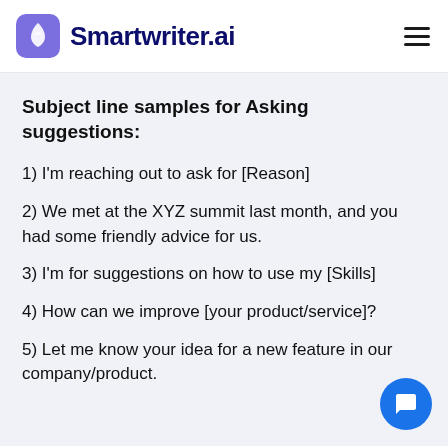Smartwriter.ai
Subject line samples for Asking suggestions:
1) I'm reaching out to ask for [Reason]
2) We met at the XYZ summit last month, and you had some friendly advice for us.
3) I'm for suggestions on how to use my [Skills]
4) How can we improve [your product/service]?
5) Let me know your idea for a new feature in our company/product.